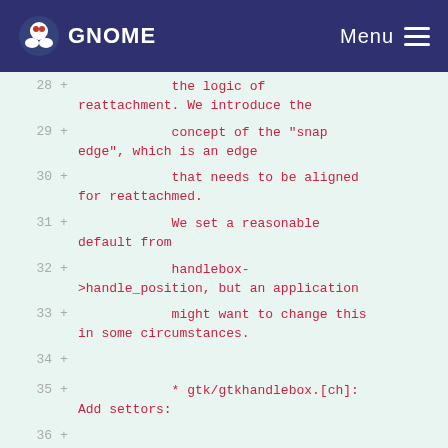GNOME  Menu
28 +             the logic of
    reattachment. We introduce the
29 +             concept of the "snap
    edge", which is an edge
30 +             that needs to be aligned
    for reattachmed.
31 +             We set a reasonable
    default from
32 +             handlebox->handle_position, but an application
33 +             might want to change this
    in some circumstances.
34 +
35 +             * gtk/gtkhandlebox.[ch]:
    Add settors:
36 +
    gtk_handle_box_set_handle_position
    ();
37 +
    gtk_handle_box_set_snap_edge